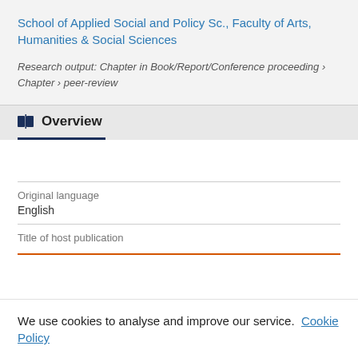School of Applied Social and Policy Sc., Faculty of Arts, Humanities & Social Sciences
Research output: Chapter in Book/Report/Conference proceeding › Chapter › peer-review
Overview
| Field | Value |
| --- | --- |
| Original language | English |
| Title of host publication |  |
We use cookies to analyse and improve our service. Cookie Policy